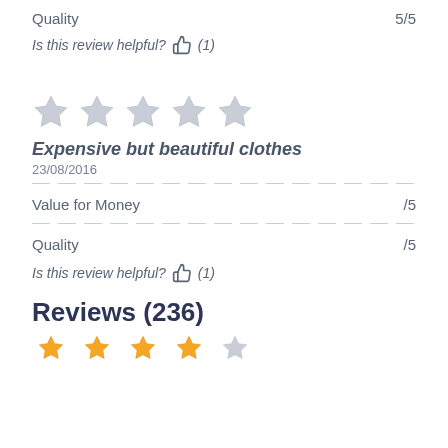Quality    5/5
Is this review helpful?  (1)
[Figure (other): Five gray/empty star rating icons]
Expensive but beautiful clothes
23/08/2016
Value for Money    /5
Quality    /5
Is this review helpful?  (1)
Reviews (236)
[Figure (other): Partial star rating icons at bottom (orange/yellow stars, cut off)]